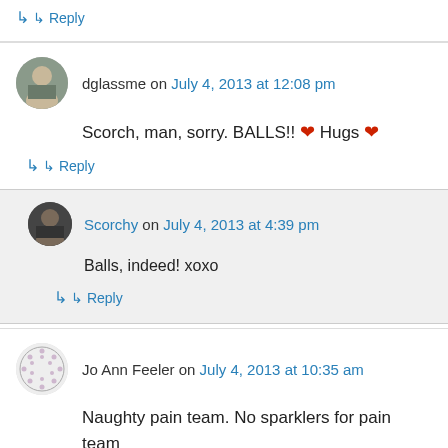↳ Reply
dglassme on July 4, 2013 at 12:08 pm
Scorch, man, sorry. BALLS!! ❤ Hugs ❤
↳ Reply
Scorchy on July 4, 2013 at 4:39 pm
Balls, indeed! xoxo
↳ Reply
Jo Ann Feeler on July 4, 2013 at 10:35 am
Naughty pain team. No sparklers for pain team